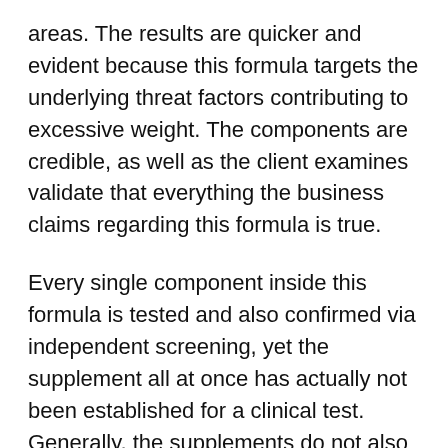areas. The results are quicker and evident because this formula targets the underlying threat factors contributing to excessive weight. The components are credible, as well as the client examines validate that everything the business claims regarding this formula is true.
Every single component inside this formula is tested and also confirmed via independent screening, yet the supplement all at once has actually not been established for a clinical test. Generally, the supplements do not also require a trial because they are never ever prescription-based or provided to treat a disease, so you can completely trust Ikaria Lean Belly Juice.